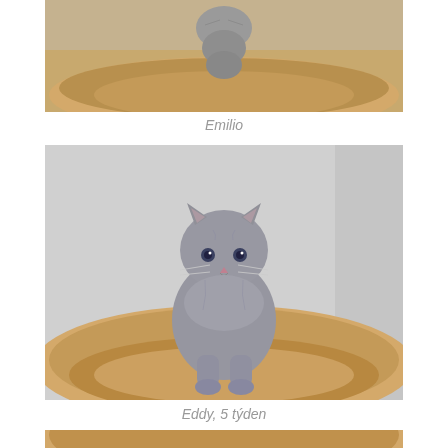[Figure (photo): Cropped top portion of a grey British Shorthair kitten sitting on a beige round cat bed, seen from above/behind]
Emilio
[Figure (photo): Grey British Shorthair kitten (Eddy) standing on a beige round cat bed, facing forward, against a light grey wall background. 5 weeks old.]
Eddy, 5 týden
[Figure (photo): Partial view of another grey kitten photo cropped at bottom of page, showing beige cat bed]